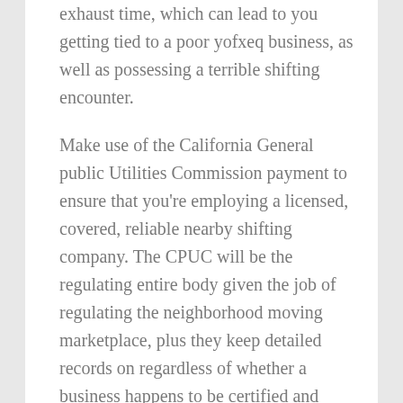exhaust time, which can lead to you getting tied to a poor yofxeq business, as well as possessing a terrible shifting encounter.
Make use of the California General public Utilities Commission payment to ensure that you're employing a licensed, covered, reliable nearby shifting company. The CPUC will be the regulating entire body given the job of regulating the neighborhood moving marketplace, plus they keep detailed records on regardless of whether a business happens to be certified and insured, as well as, on any complaints a business might have received. The CPUC may help you determine whether a company is in great standing up featuring its clients, and regardless of whether they're someone you should work together with or not. These people have a website, which is simple to navigate, featuring plenty of content material which will be helpful when you're making a decision on a